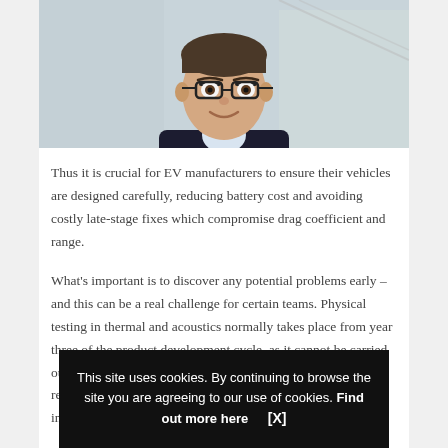[Figure (photo): Headshot photo of a man wearing glasses and a dark suit, smiling, in an office/building interior setting]
Thus it is crucial for EV manufacturers to ensure their vehicles are designed carefully, reducing battery cost and avoiding costly late-stage fixes which compromise drag coefficient and range.
What's important is to discover any potential problems early – and this can be a real challenge for certain teams. Physical testing in thermal and acoustics normally takes place from year three of the product development cycle, as it cannot be carried out on clay models and requires fully-working [prototypes that require significant] engineer[ing effort before you can get any insi...]
This site uses cookies. By continuing to browse the site you are agreeing to our use of cookies. Find out more here   [X]